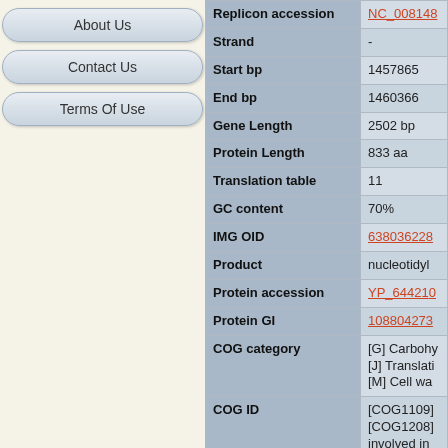About Us
Contact Us
Terms Of Use
| Field | Value |
| --- | --- |
| Replicon accession | NC_008148 |
| Strand | - |
| Start bp | 1457865 |
| End bp | 1460366 |
| Gene Length | 2502 bp |
| Protein Length | 833 aa |
| Translation table | 11 |
| GC content | 70% |
| IMG OID | 638036228 |
| Product | nucleotidyl |
| Protein accession | YP_644210 |
| Protein GI | 108804273 |
| COG category | [G] Carbohy
[J] Translati
[M] Cell wa |
| COG ID | [COG1109]
[COG1208]
involved in
factor 2B, g |
| TIGRFAM ID |  |